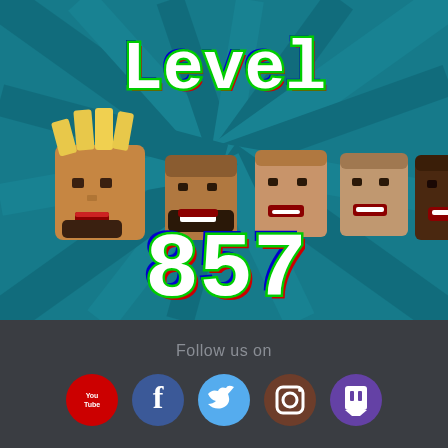[Figure (illustration): Game screenshot showing pixel art style with 'Level' text at top in white with red and green glow effect on teal sunburst background, five pixelated cartoon face avatars in the middle row, and large pixelated number '857' at bottom with red/green/blue glow effect]
Follow us on
[Figure (infographic): Row of five social media icons: YouTube (red circle with 'You Tube' text), Facebook (blue circle with f), Twitter (light blue circle with bird), Instagram (brown circle with camera), Twitch (purple circle with logo)]